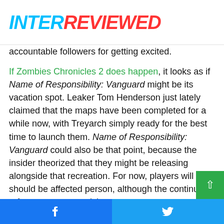INTERREVIEWED
accountable followers for getting excited.
If Zombies Chronicles 2 does happen, it looks as if Name of Responsibility: Vanguard might be its vacation spot. Leaker Tom Henderson just lately claimed that the maps have been completed for a while now, with Treyarch simply ready for the best time to launch them. Name of Responsibility: Vanguard could also be that point, because the insider theorized that they might be releasing alongside that recreation. For now, players will should be affected person, although the continued references are promising.
It's onerous to disclaim the potential of a TranZit remake, and whereas it's sensible to keep away from getting overly